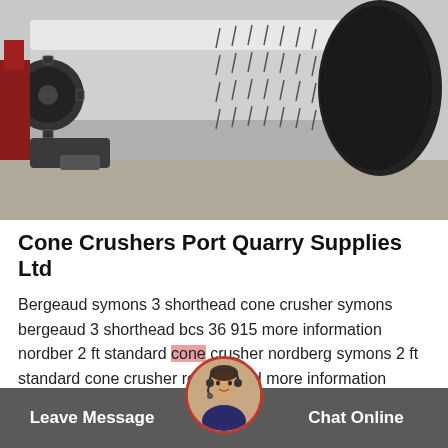[Figure (photo): Large industrial rotary drum or cylindrical crusher equipment, gray metal with perforated pattern and dark gear mechanisms, photographed outdoors on a concrete surface.]
Cone Crushers Port Quarry Supplies Ltd
Bergeaud symons 3 shorthead cone crusher symons bergeaud 3 shorthead bcs 36 915 more information nordber 2 ft standard cone crusher nordberg symons 2 ft standard cone crusher refurbished more information nordberg c...rdberg oil tank suitable fo...
Leave Message   Chat Online